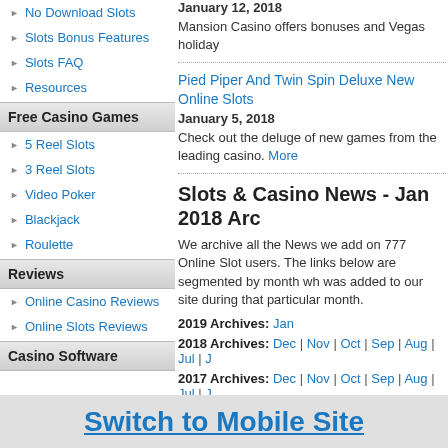No Download Slots
Slots Bonus Features
Slots FAQ
Resources
Free Casino Games
5 Reel Slots
3 Reel Slots
Video Poker
Blackjack
Roulette
Reviews
Online Casino Reviews
Online Slots Reviews
Casino Software
January 12, 2018
Mansion Casino offers bonuses and Vegas holiday
Pied Piper And Twin Spin Deluxe New Online Slots
January 5, 2018
Check out the deluge of new games from the leading casino. More
Slots & Casino News - Jan 2018 Arc
We archive all the News we add on 777 Online Slots users. The links below are segmented by month which was added to our site during that particular month.
2019 Archives: Jan
2018 Archives: Dec | Nov | Oct | Sep | Aug | Jul | J
2017 Archives: Dec | Nov | Oct | Sep | Aug | Jul | J
2016 Archives: Dec | Nov | Oct | Sep | Aug | Jul | J
2015 Archives: Dec | Nov | Oct | Sep | Aug | Jul | J
Switch to Mobile Site